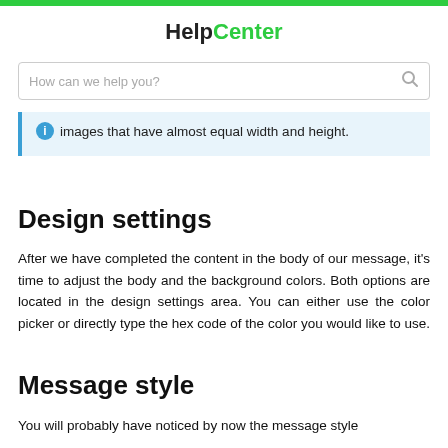HelpCenter
How can we help you?
images that have almost equal width and height.
Design settings
After we have completed the content in the body of our message, it's time to adjust the body and the background colors. Both options are located in the design settings area. You can either use the color picker or directly type the hex code of the color you would like to use.
Message style
You will probably have noticed by now the message style